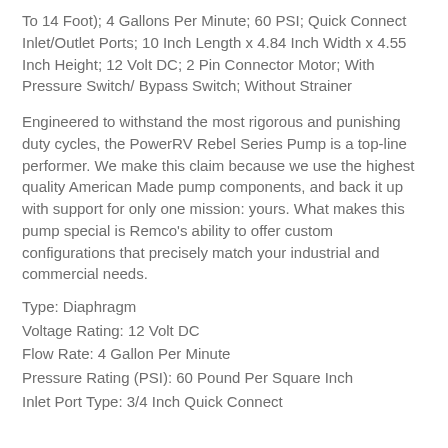To 14 Foot); 4 Gallons Per Minute; 60 PSI; Quick Connect Inlet/Outlet Ports; 10 Inch Length x 4.84 Inch Width x 4.55 Inch Height; 12 Volt DC; 2 Pin Connector Motor; With Pressure Switch/ Bypass Switch; Without Strainer
Engineered to withstand the most rigorous and punishing duty cycles, the PowerRV Rebel Series Pump is a top-line performer. We make this claim because we use the highest quality American Made pump components, and back it up with support for only one mission: yours. What makes this pump special is Remco's ability to offer custom configurations that precisely match your industrial and commercial needs.
Type: Diaphragm
Voltage Rating: 12 Volt DC
Flow Rate: 4 Gallon Per Minute
Pressure Rating (PSI): 60 Pound Per Square Inch
Inlet Port Type: 3/4 Inch Quick Connect